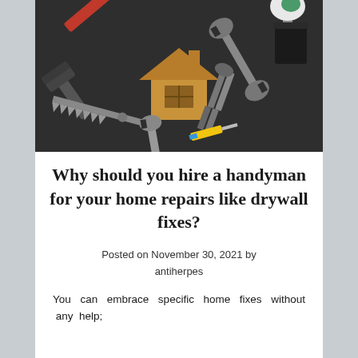[Figure (photo): Overhead view of various home repair tools including hammer, saw, wrenches, utility knife, pliers, and a yellow-handled tool arranged around a wooden house icon on a dark background.]
Why should you hire a handyman for your home repairs like drywall fixes?
Posted on November 30, 2021 by antiherpes
You can embrace specific home fixes without any help;